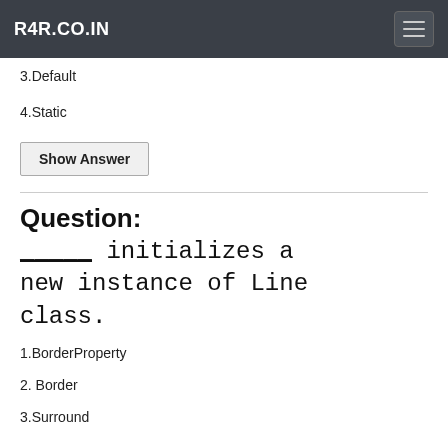R4R.CO.IN
3.Default
4.Static
Show Answer
Question: _____ initializes a new instance of Line class.
1.BorderProperty
2. Border
3.Surround